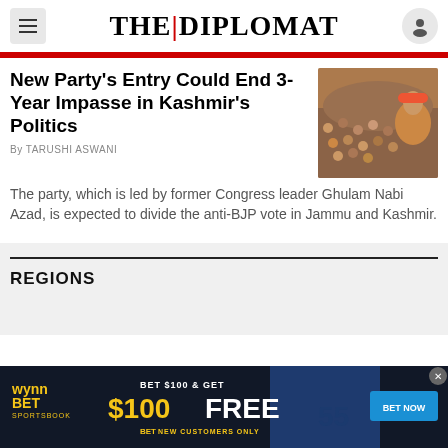THE | DIPLOMAT
New Party's Entry Could End 3-Year Impasse in Kashmir's Politics
By TARUSHI ASWANI
The party, which is led by former Congress leader Ghulam Nabi Azad, is expected to divide the anti-BJP vote in Jammu and Kashmir.
REGIONS
[Figure (photo): Advertisement banner for WynnBet Sportsbook: BET $100 & GET $100 FREE BET, NEW CUSTOMERS ONLY, with BET NOW button]